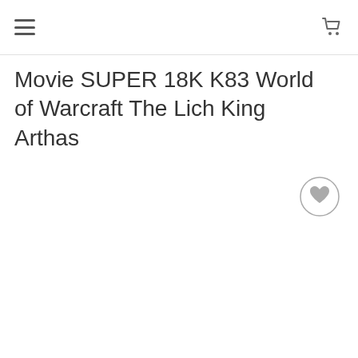Menu and Cart navigation header
Movie SUPER 18K K83 World of Warcraft The Lich King Arthas
[Figure (illustration): Circular wishlist/heart button icon with a gray heart symbol inside a light gray circle outline]